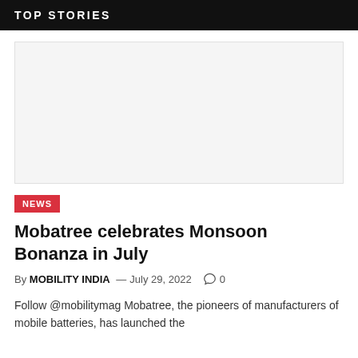TOP STORIES
[Figure (photo): Article image placeholder (blank/white image area)]
NEWS
Mobatree celebrates Monsoon Bonanza in July
By MOBILITY INDIA — July 29, 2022  0
Follow @mobilitymag Mobatree, the pioneers of manufacturers of mobile batteries, has launched the